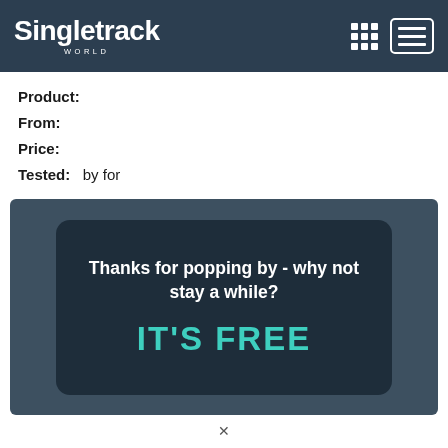Singletrack WORLD
Product:
From:
Price:
Tested:  by for
[Figure (screenshot): Dark promotional overlay card with text 'Thanks for popping by - why not stay a while?' and 'IT'S FREE' in teal color on a dark background.]